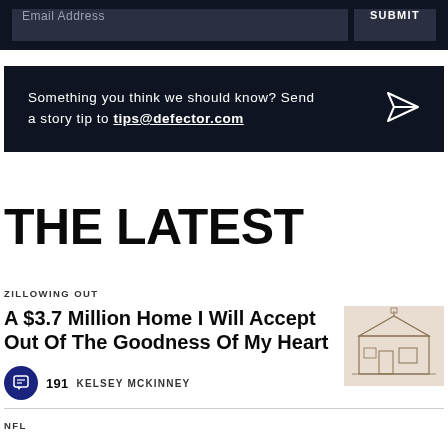Email Address  SUBMIT
Something you think we should know? Send a story tip to tips@defector.com
THE LATEST
ZILLOWING OUT
A $3.7 Million Home I Will Accept Out Of The Goodness Of My Heart
191  KELSEY MCKINNEY
[Figure (photo): Thumbnail image of a home, sepia-toned sketch style]
NFL